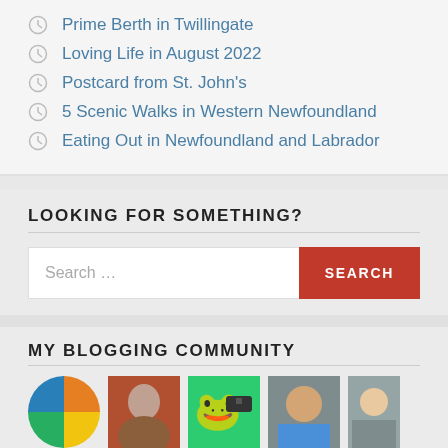Prime Berth in Twillingate
Loving Life in August 2022
Postcard from St. John's
5 Scenic Walks in Western Newfoundland
Eating Out in Newfoundland and Labrador
LOOKING FOR SOMETHING?
Search …
MY BLOGGING COMMUNITY
[Figure (photo): Four community blog avatar images partially visible at bottom of page]